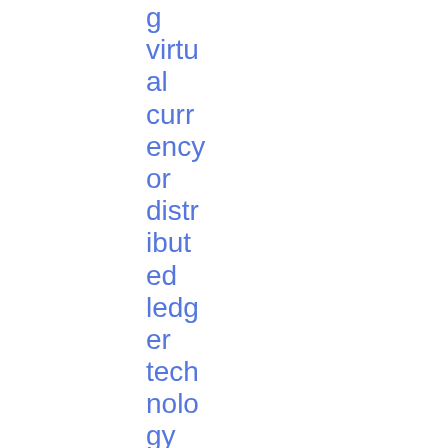| Date | Reference | Title | Tag | Type | Download |
| --- | --- | --- | --- | --- | --- |
|  |  | g virtual currency or distributed ledger technology | KB |  |  |
| 19/12/2014 | 2014/1566 | Draft Regulatory Technical nical | Transparency | Consultation Paper | PDF 2.17 MB |